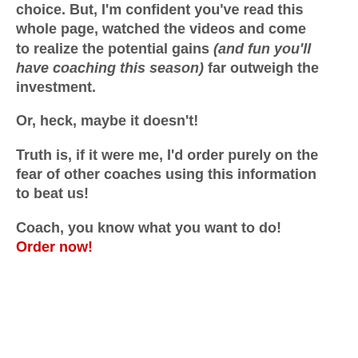choice. But, I'm confident you've read this whole page, watched the videos and come to realize the potential gains (and fun you'll have coaching this season) far outweigh the investment.
Or, heck, maybe it doesn't!
Truth is, if it were me, I'd order purely on the fear of other coaches using this information to beat us!
Coach, you know what you want to do! Order now!